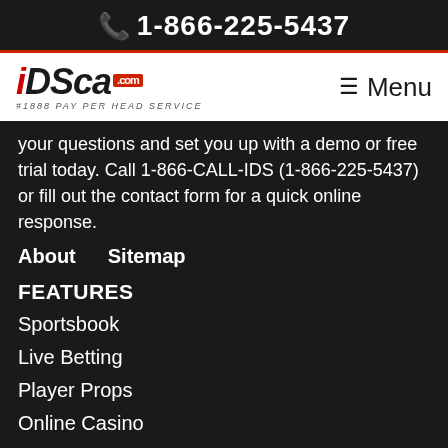📞 1-866-225-5437
[Figure (logo): iDSca.com logo with tagline #1888 PAY PER HEAD SERVICE, and a hamburger Menu button on the right]
your questions and set you up with a demo or free trial today. Call 1-866-CALL-IDS (1-866-225-5437) or fill out the contact form for a quick online response.
About
Sitemap
FEATURES
Sportsbook
Live Betting
Player Props
Online Casino
Live Dealer